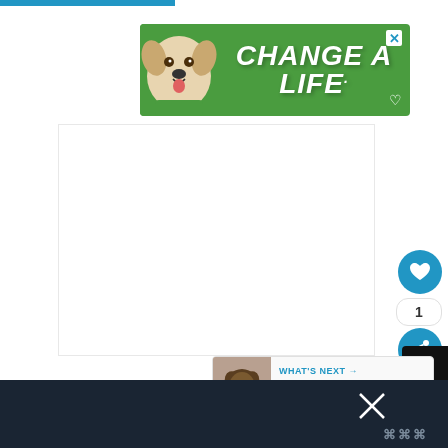[Figure (illustration): Green advertisement banner with a dog photo and text 'CHANGE A LIFE' with a close button and heart icon]
[Figure (illustration): Social interaction buttons: blue heart/like button, like count showing '1', blue share button]
1
[Figure (illustration): What's Next card showing a small dog thumbnail and text 'WHAT'S NEXT → 5 Best Dog Food for...']